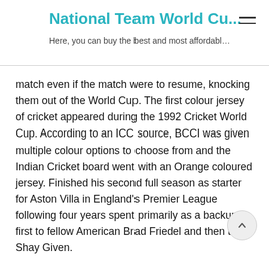National Team World Cu...
Here, you can buy the best and most affordabl…
match even if the match were to resume, knocking them out of the World Cup. The first colour jersey of cricket appeared during the 1992 Cricket World Cup. According to an ICC source, BCCI was given multiple colour options to choose from and the Indian Cricket board went with an Orange coloured jersey. Finished his second full season as starter for Aston Villa in England's Premier League following four years spent primarily as a backup, first to fellow American Brad Friedel and then to Shay Given.
India dished out a clinical performance against the Aussies, with 4 Indian batsmen: Gavaskar (61 from 72 balls, 7 fours), Sidhu (51 from 70 balls, 2 fours), Vengsarkar (63 from 60 balls, 3 fours and 2 sixes) and Azharuddin (54 not out from 45 balls, 5 fours and 1 six): scoring half-centuries as India posted an